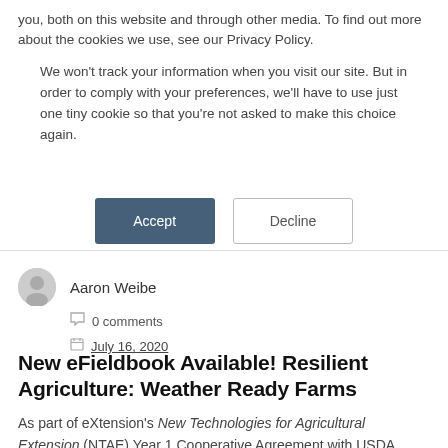you, both on this website and through other media. To find out more about the cookies we use, see our Privacy Policy.
We won't track your information when you visit our site. But in order to comply with your preferences, we'll have to use just one tiny cookie so that you're not asked to make this choice again.
Accept | Decline
Aaron Weibe
0 comments
July 16, 2020
New eFieldbook Available! Resilient Agriculture: Weather Ready Farms
As part of eXtension's New Technologies for Agricultural Extension (NTAE) Year 1 Cooperative Agreement with USDA, NIFA, the eXtension Foundation